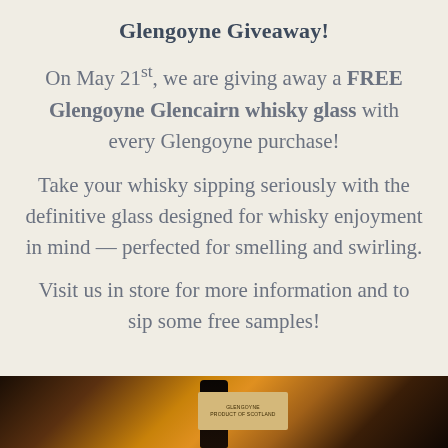Glengoyne Giveaway!
On May 21st, we are giving away a FREE Glengoyne Glencairn whisky glass with every Glengoyne purchase!
Take your whisky sipping seriously with the definitive glass designed for whisky enjoyment in mind — perfected for smelling and swirling.
Visit us in store for more information and to sip some free samples!
[Figure (photo): Dark moody photograph of a Glengoyne whisky bottle with amber/golden tones in the background, showing the bottom portion of the bottle and its label]